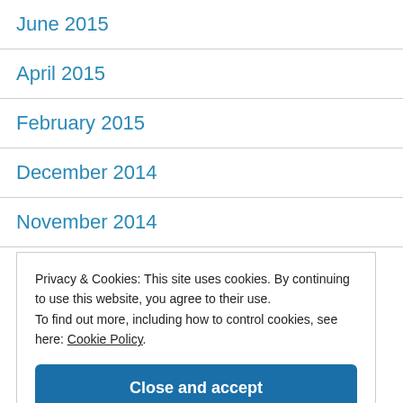June 2015
April 2015
February 2015
December 2014
November 2014
October 2014
Privacy & Cookies: This site uses cookies. By continuing to use this website, you agree to their use. To find out more, including how to control cookies, see here: Cookie Policy.
Close and accept